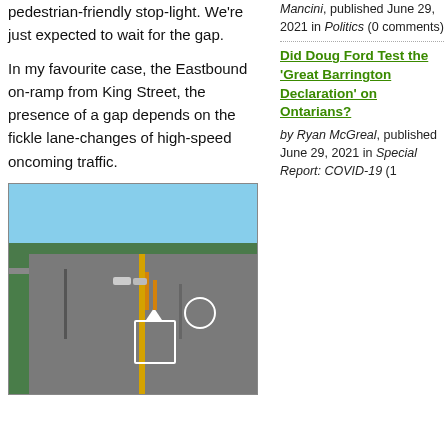pedestrian-friendly stop-light. We're just expected to wait for the gap.
In my favourite case, the Eastbound on-ramp from King Street, the presence of a gap depends on the fickle lane-changes of high-speed oncoming traffic.
[Figure (photo): A multi-lane road with a bicycle lane, yellow center line, green fence on left, lamp posts, and trees in background under a blue sky.]
Mancini, published June 29, 2021 in Politics (0 comments)
Did Doug Ford Test the 'Great Barrington Declaration' on Ontarians?
by Ryan McGreal, published June 29, 2021 in Special Report: COVID-19 (1